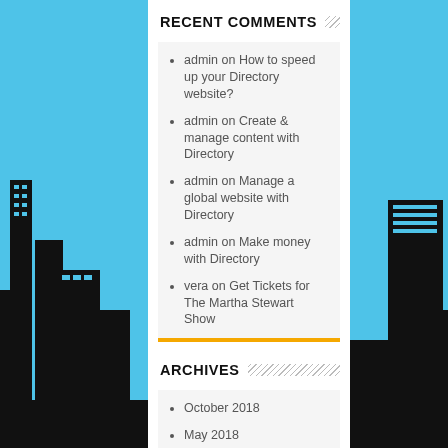RECENT COMMENTS
admin on How to speed up your Directory website?
admin on Create & manage content with Directory
admin on Manage a global website with Directory
admin on Make money with Directory
vera on Get Tickets for The Martha Stewart Show
ARCHIVES
October 2018
May 2018
April 2018
April 2016